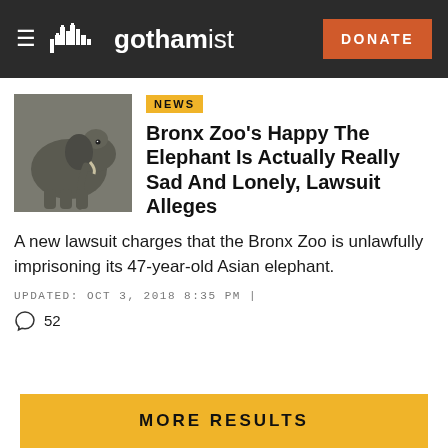gothamist — DONATE
NEWS
Bronx Zoo's Happy The Elephant Is Actually Really Sad And Lonely, Lawsuit Alleges
A new lawsuit charges that the Bronx Zoo is unlawfully imprisoning its 47-year-old Asian elephant.
UPDATED: OCT 3, 2018 8:35 PM |
52
MORE RESULTS